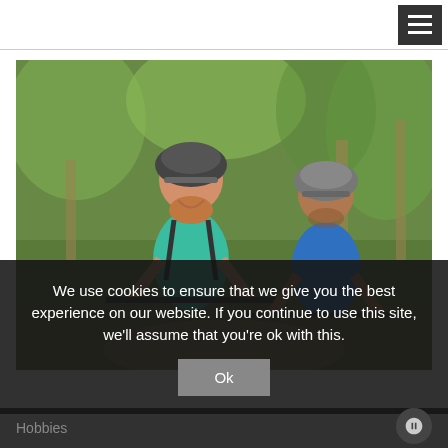[Figure (photo): Two cyclists wearing helmets riding mountain bikes on a forest trail. The woman in front wears a teal tank top and the man behind wears a blue shirt. Both have backpacks and helmets.]
We use cookies to ensure that we give you the best experience on our website. If you continue to use this site, we'll assume that you're ok with this.
Ok
Hobbies